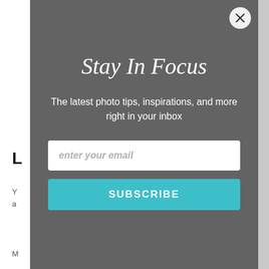[Figure (screenshot): Modal popup overlay on a photography website with dark gray background, showing 'Stay In Focus' newsletter signup with email input field and Subscribe button]
Stay In Focus
The latest photo tips, inspirations, and more right in your inbox
enter your email
SUBSCRIBE